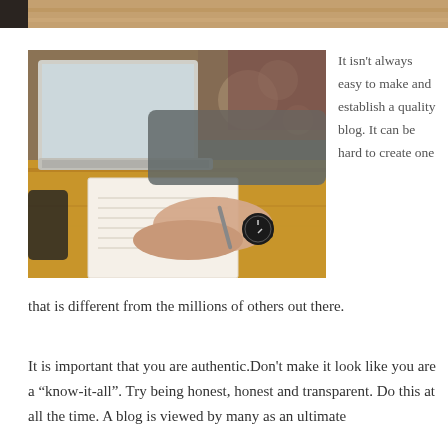[Figure (photo): Partial top strip of a photo — cropped top portion of a scene, appears to be a wooden table scene]
[Figure (photo): Person writing in a notebook at a wooden table with a laptop open, wearing a watch with a black strap; bokeh background]
It isn't always easy to make and establish a quality blog. It can be hard to create one that is different from the millions of others out there.
It is important that you are authentic.Don't make it look like you are a “know-it-all”. Try being honest, honest and transparent. Do this at all the time. A blog is viewed by many as an ultimate